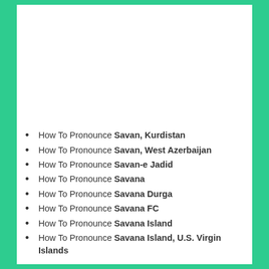How To Pronounce Savan, Kurdistan
How To Pronounce Savan, West Azerbaijan
How To Pronounce Savan-e Jadid
How To Pronounce Savana
How To Pronounce Savana Durga
How To Pronounce Savana FC
How To Pronounce Savana Island
How To Pronounce Savana Island, U.S. Virgin Islands